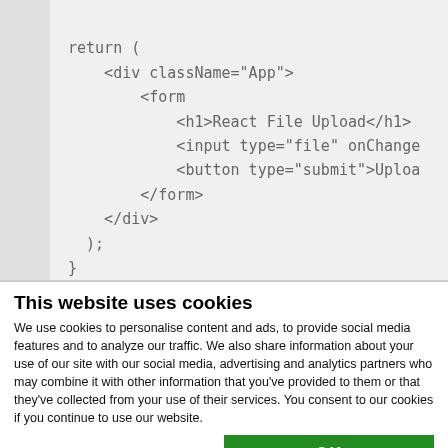[Figure (screenshot): Code editor screenshot showing JSX return statement with div, form, h1, input, and button elements]
This website uses cookies
We use cookies to personalise content and ads, to provide social media features and to analyze our traffic. We also share information about your use of our site with our social media, advertising and analytics partners who may combine it with other information that you've provided to them or that they've collected from your use of their services. You consent to our cookies if you continue to use our website.
OK
Necessary  Preferences  Statistics  Marketing  Show details